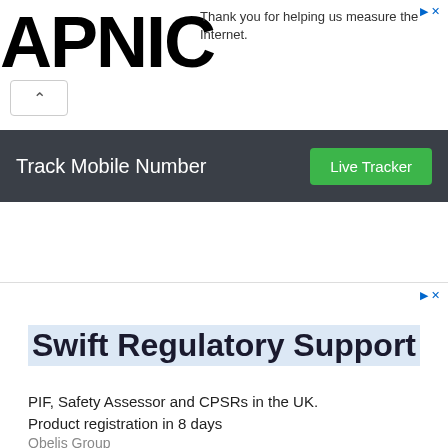[Figure (logo): APNIC logo in large bold black text]
Thank you for helping us measure the Internet.
Track Mobile Number
Live Tracker
[Figure (other): Advertisement banner with 'Swift Regulatory Support' headline, subtext 'PIF, Safety Assessor and CPSRs in the UK. Product registration in 8 days', brand 'Obelis Group']